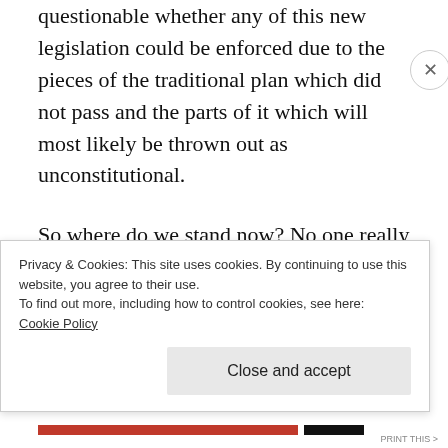questionable whether any of this new legislation could be enforced due to the pieces of the traditional plan which did not pass and the parts of it which will most likely be thrown out as unconstitutional.
So where do we stand now? No one really knows.
Could we actually be roughly in the same place
Privacy & Cookies: This site uses cookies. By continuing to use this website, you agree to their use.
To find out more, including how to control cookies, see here:
Cookie Policy
Close and accept